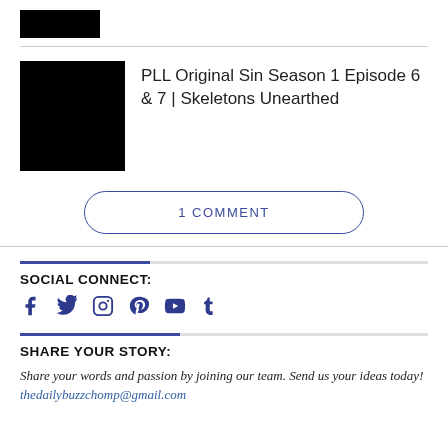[Figure (photo): Small black placeholder image thumbnail at top]
[Figure (photo): Large black placeholder image thumbnail next to article title]
PLL Original Sin Season 1 Episode 6 & 7 | Skeletons Unearthed
1 COMMENT
SOCIAL CONNECT:
[Figure (infographic): Social media icons: Facebook, Twitter, Instagram, Pinterest, YouTube, Tumblr]
SHARE YOUR STORY:
Share your words and passion by joining our team. Send us your ideas today! thedailybuzzchomp@gmail.com